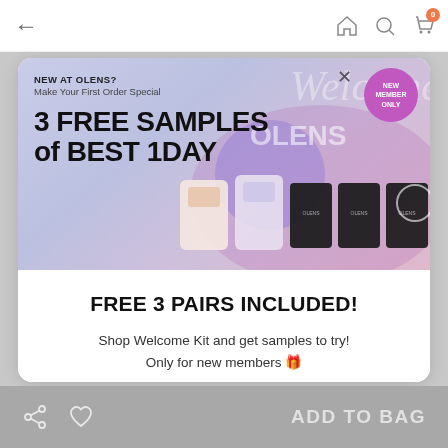[Figure (screenshot): Mobile app navigation bar with back arrow, home, search, and cart icons (badge showing 0)]
[Figure (infographic): OLENS promotional banner with lavender background showing '3 FREE SAMPLES of BEST 1DAY' offer for new members, with product images of contact lens cases on the right and a purple 'NEW MEMBER ONLY' badge]
FREE 3 PAIRS INCLUDED!
Shop Welcome Kit and get samples to try!
Only for new members 🎁
[Figure (screenshot): Black 'SHOP NOW' button]
ADD TO BAG